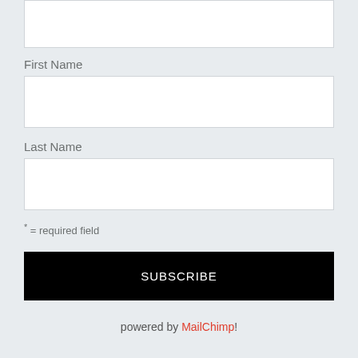[Figure (screenshot): Empty text input box (top, partially visible)]
First Name
[Figure (screenshot): Empty text input box for First Name]
Last Name
[Figure (screenshot): Empty text input box for Last Name]
* = required field
SUBSCRIBE
powered by MailChimp!